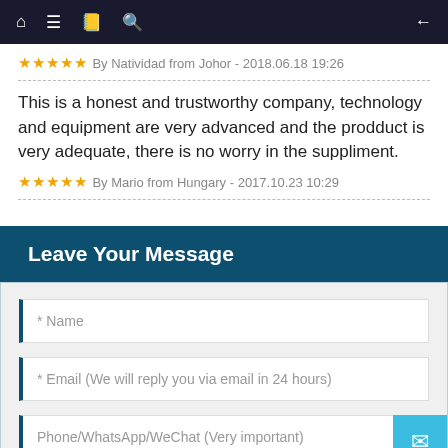Navigation bar with home, menu, book, search, and back icons
★★★★★ By Natividad from Johor - 2018.06.18 19:26
This is a honest and trustworthy company, technology and equipment are very advanced and the prodduct is very adequate, there is no worry in the suppliment.
★★★★★ By Mario from Hungary - 2017.10.23 10:29
Leave Your Message
* Name
* Email (We will reply you via email in 24 hours)
Phone/WhatsApp/WeChat (Very important)